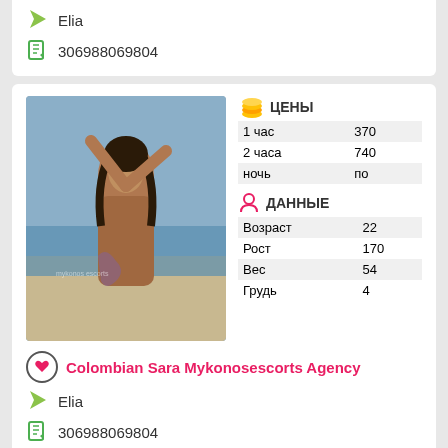Elia
306988069804
[Figure (photo): Photo of a woman at the beach]
|  | ЦЕНЫ |
| --- | --- |
| 1 час | 370 |
| 2 часа | 740 |
| ночь | по |
|  | ДАННЫЕ |
| --- | --- |
| Возраст | 22 |
| Рост | 170 |
| Вес | 54 |
| Грудь | 4 |
Colombian Sara Mykonosescorts Agency
Elia
306988069804
|  | ЦЕНЫ |
| --- | --- |
| 1 час | по |
| 2 часа | по |
[Figure (photo): Partial photo of a woman, bottom card]